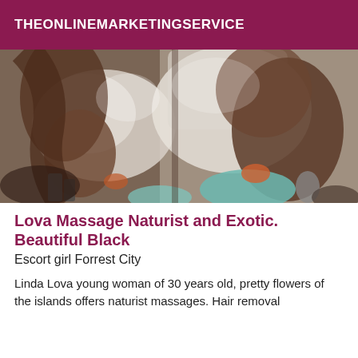THEONLINEMARKETINGSERVICE
[Figure (photo): Close-up photo of a person receiving a massage, showing hands and body on a massage table with bottles visible.]
Lova Massage Naturist and Exotic. Beautiful Black
Escort girl Forrest City
Linda Lova young woman of 30 years old, pretty flowers of the islands offers naturist massages. Hair removal